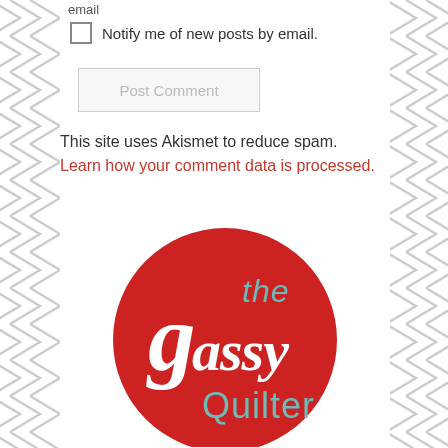email
Notify me of new posts by email.
Post Comment
This site uses Akismet to reduce spam. Learn how your comment data is processed.
[Figure (logo): The Sassy Quilter logo: red circle with white script text 'the Sassy' and teal text 'Quilter']